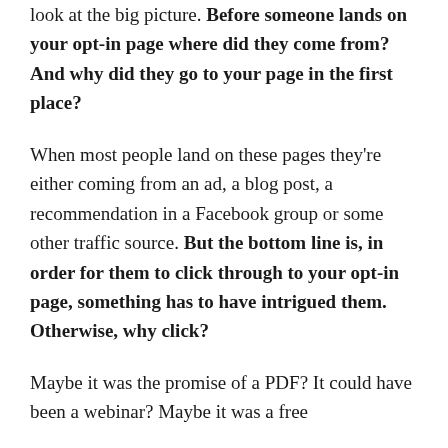Let's step back for a minute though. Let's look at the big picture. Before someone lands on your opt-in page where did they come from? And why did they go to your page in the first place?
When most people land on these pages they're either coming from an ad, a blog post, a recommendation in a Facebook group or some other traffic source. But the bottom line is, in order for them to click through to your opt-in page, something has to have intrigued them. Otherwise, why click?
Maybe it was the promise of a PDF? It could have been a webinar? Maybe it was a free